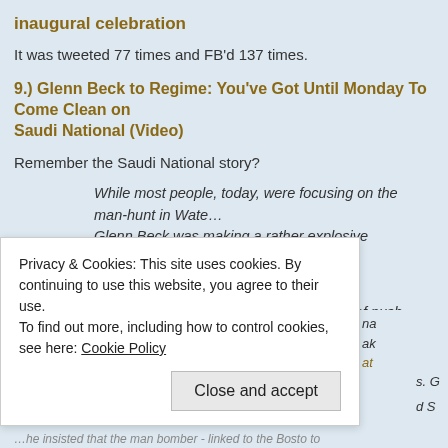inaugural celebration
It was tweeted 77 times and FB'd 137 times.
9.) Glenn Beck to Regime: You've Got Until Monday To Come Clean on Saudi National (Video)
Remember the Saudi National story?
While most people, today, were focusing on the man-hunt in Wate... Glenn Beck was making a rather explosive ultimatum to the Regime... show.
As I reported, yesterday, after a full day of push-back from the Reg... the story, The Blaze doubled down.
Privacy & Cookies: This site uses cookies. By continuing to use this website, you agree to their use.
To find out more, including how to control cookies, see here: Cookie Policy
Close and accept